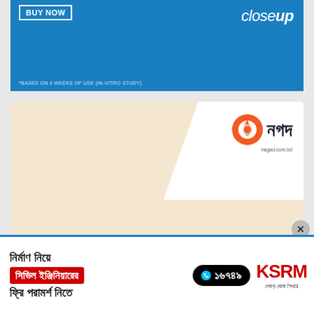[Figure (illustration): Closeup toothpaste advertisement banner with blue background. Shows BUY NOW button and Closeup logo. Text: *BASED ON 4 WEEKS OF USE (IN-VITRO STUDY)]
[Figure (illustration): Nagad mobile banking advertisement with cream/beige background and white corner. Shows Nagad logo with flame icon and Bengali brand name.]
[Figure (illustration): KSRM construction brand advertisement at bottom. Bengali text: নির্মাণ নিয়ে সিভিল ইঞ্জিনিয়ারের ফ্রি পরামর্শ নিতে. Phone number: ১৬৭৪৯. KSRM logo with tagline শেকড় থেকে শিখরে.]